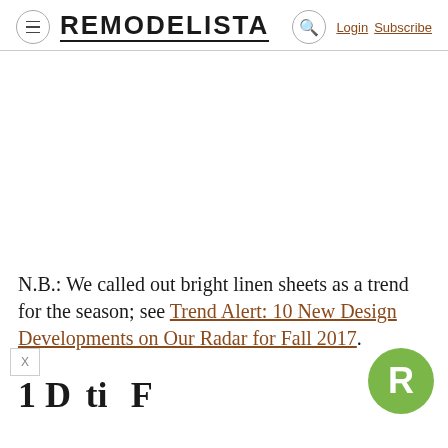≡ REMODELISTA 🔍 Login Subscribe
[Figure (other): Blank white image area placeholder]
N.B.: We called out bright linen sheets as a trend for the season; see Trend Alert: 10 New Design Developments on Our Radar for Fall 2017.
1 B...ti... F...